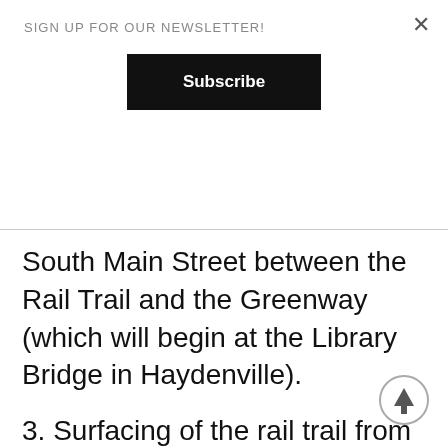SIGN UP FOR OUR NEWSLETTER!
Subscribe
South Main Street between the Rail Trail and the Greenway (which will begin at the Library Bridge in Haydenville).
3. Surfacing of the rail trail from Leeds to Haydenville was completed this fall under an elegant partnership between Williamsburg and Northampton. Because the project spanned the town line, the two communities made an agreement to have